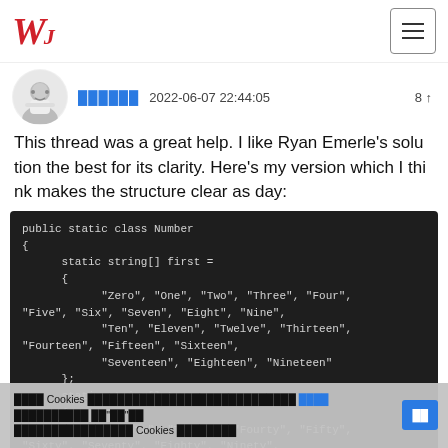W (logo) and hamburger menu
██████ 2022-06-07 22:44:05 8 ↑
This thread was a great help. I like Ryan Emerle's solution the best for its clarity. Here's my version which I think makes the structure clear as day:
[Figure (screenshot): Code block showing C# public static class Number with static string arrays 'first' and 'tens' containing number word strings]
Cookie consent overlay with accept button